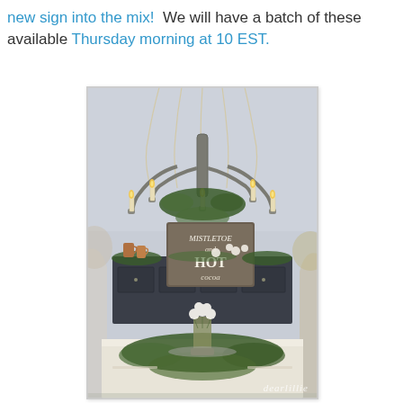new sign into the mix!  We will have a batch of these available Thursday morning at 10 EST.
[Figure (photo): Interior dining room scene with a large bead-draped candle chandelier hanging above a table decorated with evergreen garland. A dark wood credenza in the background displays a wooden sign reading 'Mistletoe and HOT [cocoa]', copper mugs, white flowers, and greenery. The dining table has a greenery centerpiece with white flowers. Chairs are visible on the sides. A watermark 'dearlillie' appears at the bottom right.]